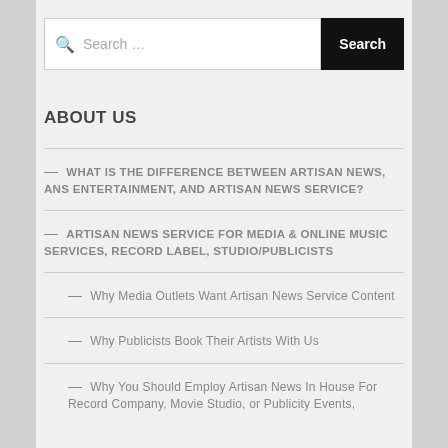Search ...
ABOUT US
— WHAT IS THE DIFFERENCE BETWEEN ARTISAN NEWS, ANS ENTERTAINMENT, AND ARTISAN NEWS SERVICE?
— ARTISAN NEWS SERVICE FOR MEDIA & ONLINE MUSIC SERVICES, RECORD LABEL, STUDIO/PUBLICISTS
— Why Media Outlets Want Artisan News Service Content
— Why Publicists Book Their Artists With Us
— Why You Should Employ Artisan News In House For Record Company, Movie Studio, or Publicity Events,